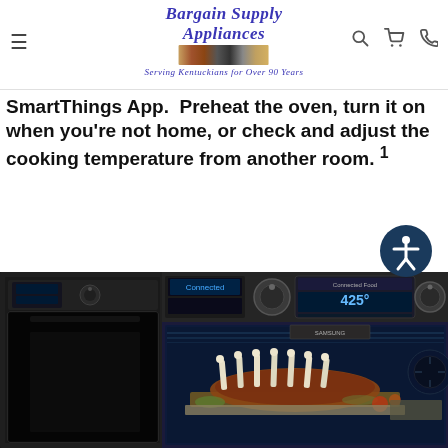Bargain Supply Appliances — Serving Kentuckians for Over 90 Years
SmartThings App. Preheat the oven, turn it on when you're not home, or check and adjust the cooking temperature from another room. 1
[Figure (photo): A Samsung smart double wall oven with the door open showing a rack of lamb roast inside, 425°F displayed on the control panel touchscreen]